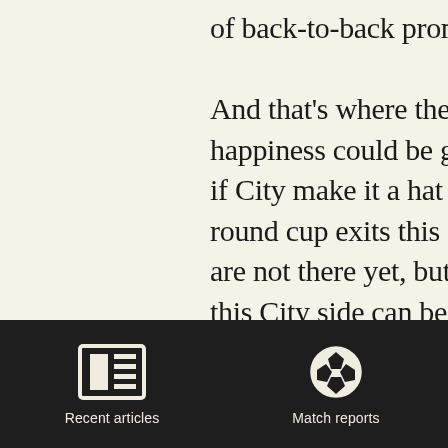of back-to-back promo… And that's where the r… happiness could be gai… if City make it a hat tr… round cup exits this sea… are not there yet, but w… this City side can be as… last year's MK Dons ar… their path towards the… Championship. That d… 'll b…
[Figure (screenshot): Navigation bar with two icons: 'Recent articles' (newspaper icon) and 'Match reports' (football/soccer ball icon), on a dark background.]